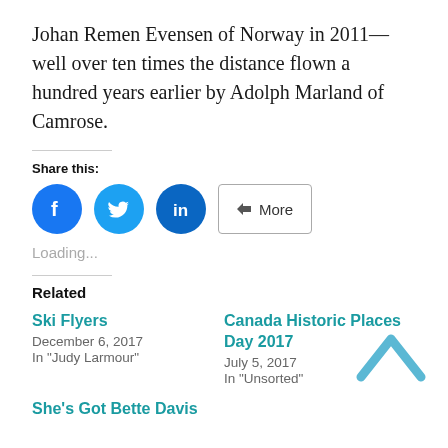Johan Remen Evensen of Norway in 2011—well over ten times the distance flown a hundred years earlier by Adolph Marland of Camrose.
Share this:
[Figure (other): Social share buttons: Facebook (blue circle), Twitter (blue circle), LinkedIn (dark blue circle), and a More button]
Loading...
Related
Ski Flyers
December 6, 2017
In "Judy Larmour"
Canada Historic Places Day 2017
July 5, 2017
In "Unsorted"
She's Got Bette Davis